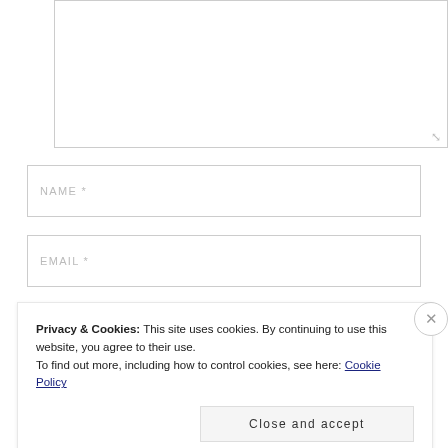[Figure (screenshot): Text area input box with resize handle in lower right corner]
NAME *
EMAIL *
Privacy & Cookies: This site uses cookies. By continuing to use this website, you agree to their use.
To find out more, including how to control cookies, see here: Cookie Policy
Close and accept